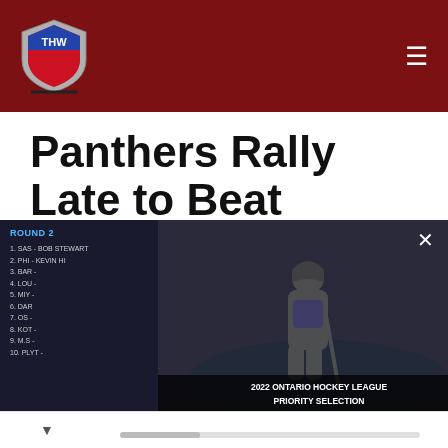THW - The Hockey Writers
Panthers Rally Late to Beat Flyers
December 30, 2018 by The Canadian Press
[Figure (other): Social sharing icons: Facebook, Twitter, LinkedIn, Pinterest, WhatsApp, Email]
[Figure (screenshot): Video overlay showing OHL draft list on left, hockey player thumbnail in center, and video title '2022-2023 OHL Futures Watch – Niagara IceDogs' on right with close button]